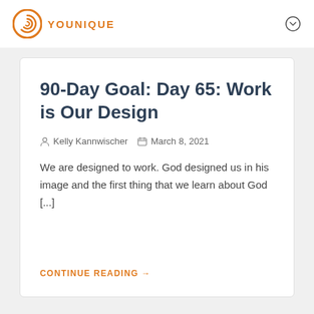YOUNIQUE
90-Day Goal: Day 65: Work is Our Design
Kelly Kannwischer  March 8, 2021
We are designed to work. God designed us in his image and the first thing that we learn about God [...]
CONTINUE READING →